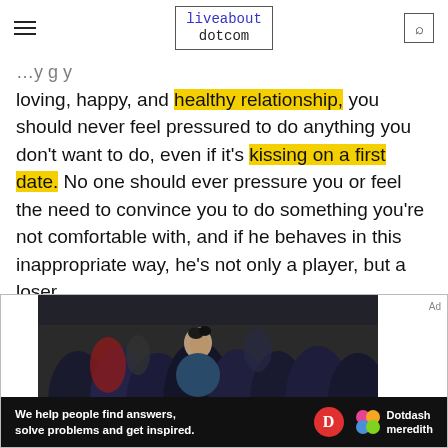liveabout dotcom
loving, happy, and healthy relationship, you should never feel pressured to do anything you don't want to do, even if it's kissing on a first date. No one should ever pressure you or feel the need to convince you to do something you're not comfortable with, and if he behaves in this inappropriate way, he's not only a player, but a loser.
[Figure (photo): Advertisement showing a crowd of people in dark clothing, with an ad banner for Dotdash Meredith reading 'We help people find answers, solve problems and get inspired.']